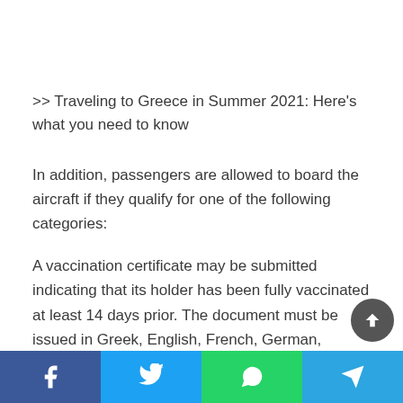>> Traveling to Greece in Summer 2021: Here's what you need to know
In addition, passengers are allowed to board the aircraft if they qualify for one of the following categories:
A vaccination certificate may be submitted indicating that its holder has been fully vaccinated at least 14 days prior. The document must be issued in Greek, English, French, German, Spanish, Italian or Russian. The vaccination certificate must include the name of the holder, the type of vaccine given, and the number of doses. Travelers from European and third